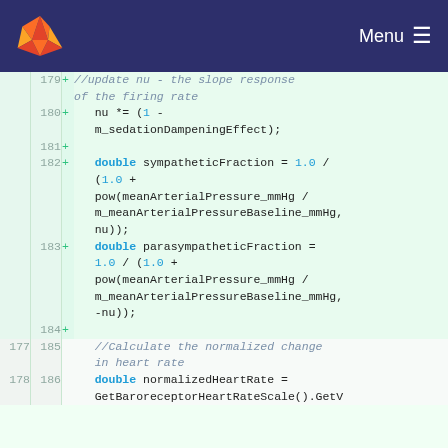Menu (GitLab navigation bar)
179 + //update nu - the slope response of the firing rate
180 + nu *= (1 - m_sedationDampeningEffect);
181 +
182 + double sympatheticFraction = 1.0 / (1.0 + pow(meanArterialPressure_mmHg / m_meanArterialPressureBaseline_mmHg, nu));
183 + double parasympatheticFraction = 1.0 / (1.0 + pow(meanArterialPressure_mmHg / m_meanArterialPressureBaseline_mmHg, -nu));
184 +
177 185   //Calculate the normalized change in heart rate
178 186   double normalizedHeartRate = GetBaroreceptorHeartRateScale().GetV